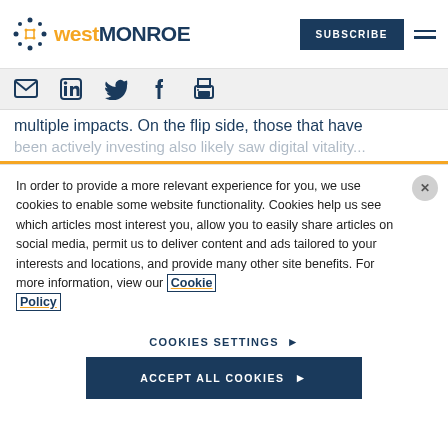[Figure (logo): West Monroe logo with dotted circle icon and text 'westMONROE']
multiple impacts. On the flip side, those that have been actively investing also likely saw digital vitality
In order to provide a more relevant experience for you, we use cookies to enable some website functionality. Cookies help us see which articles most interest you, allow you to easily share articles on social media, permit us to deliver content and ads tailored to your interests and locations, and provide many other site benefits. For more information, view our Cookie Policy
COOKIES SETTINGS ▶
ACCEPT ALL COOKIES ▶